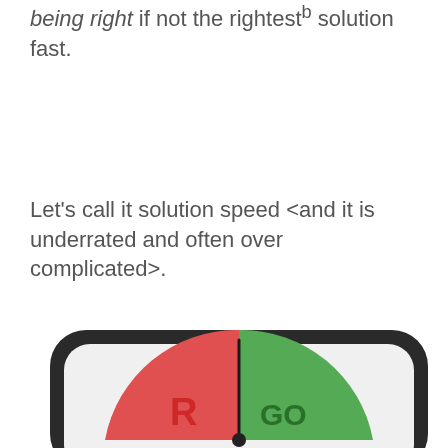being right if not the rightest solution fast.
Let's call it solution speed <and it is underrated and often over complicated>.
[Figure (illustration): A speedometer or dial gauge with a rounded rectangle black frame, showing a red section on the left and a green section on the right, with a needle pointing near the center top, partially cropped at bottom of page.]